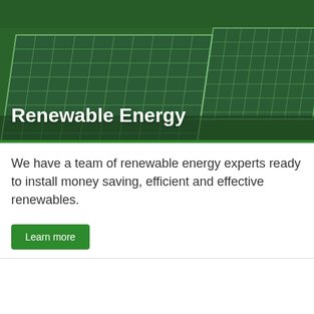[Figure (photo): Solar panels photographed from a low angle against a green landscape, with a dark green color overlay]
Renewable Energy
We have a team of renewable energy experts ready to install money saving, efficient and effective renewables.
Learn more
This website uses cookies to improve your experience. We'll assume you're ok with this, but you can opt-out if you wish.
Cookie settings
ACCEPT